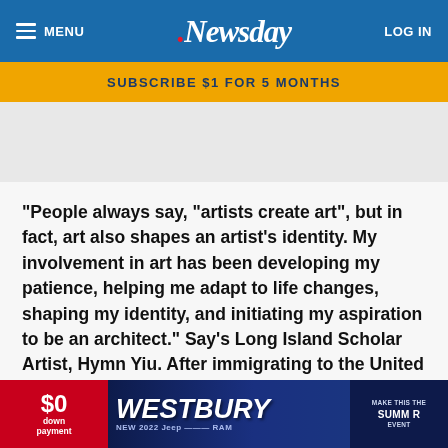MENU | Newsday | LOG IN
SUBSCRIBE $1 FOR 5 MONTHS
"People always say, "artists create art", but in fact, art also shapes an artist's identity. My involvement in art has been developing my patience, helping me adapt to life changes, shaping my identity, and initiating my aspiration to be an architect." Say's Long Island Scholar Artist, Hymn Yiu. After immigrating to the United State, just last year, Hymn dove into his studies at Mineola High School with, not one, but three a... active and im... as
[Figure (photo): Westbury Jeep advertisement banner showing '$0 down payment' and 'NEW 2022 Jeep' with 'Make This The Summer Event' text on dark blue background]